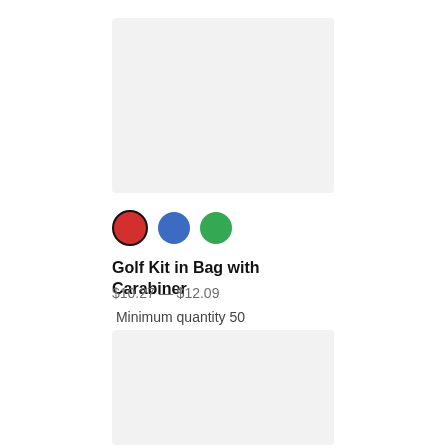[Figure (photo): Product image placeholder (top) — light gray rectangle representing a product thumbnail for Golf Kit in Bag with Carabiner]
[Figure (illustration): Three color swatches: red (selected, with border), blue, green]
Golf Kit in Bag with Carabiner
$10.27 — $12.09
Minimum quantity 50
[Figure (photo): Product image placeholder (bottom) — light gray rectangle representing a second product thumbnail]